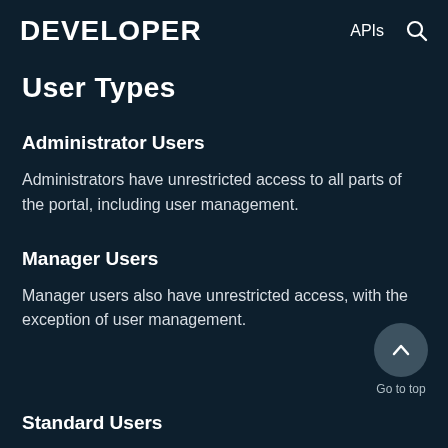DEVELOPER   APIs
User Types
Administrator Users
Administrators have unrestricted access to all parts of the portal, including user management.
Manager Users
Manager users also have unrestricted access, with the exception of user management.
Standard Users